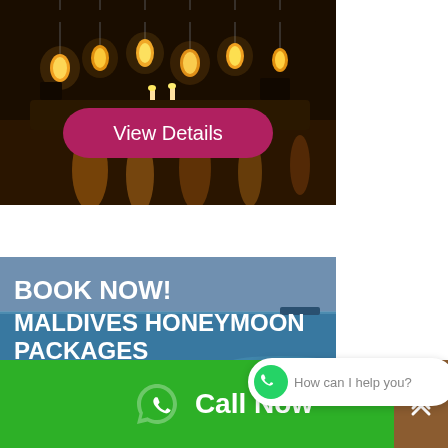[Figure (photo): Nighttime outdoor dining scene on water with hanging lanterns and warm glowing lights reflected on the water surface]
[Figure (illustration): Pink rounded rectangle button with white text reading 'View Details']
[Figure (photo): Maldives honeymoon packages promotional banner with ocean/sea background and text: BOOK NOW! MALDIVES HONEYMOON PACKAGES with a CLICK HERE button]
[Figure (illustration): WhatsApp chat bubble with green WhatsApp icon and text 'How can I help you?']
Call Now
[Figure (illustration): Green footer bar with phone icon and 'Call Now' text, and a brown scroll-to-top chevron button on the right]